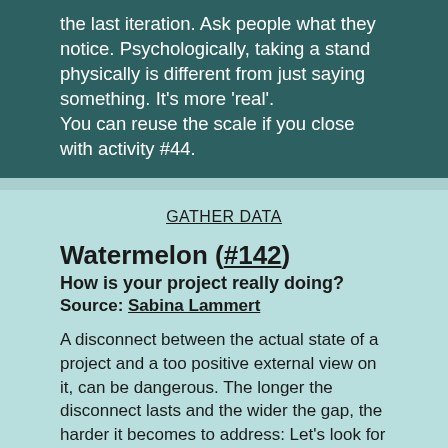the last iteration. Ask people what they notice. Psychologically, taking a stand physically is different from just saying something. It's more 'real'.
You can reuse the scale if you close with activity #44.
GATHER DATA
Watermelon (#142)
How is your project really doing?
Source: Sabina Lammert
A disconnect between the actual state of a project and a too positive external view on it, can be dangerous. The longer the disconnect lasts and the wider the gap, the harder it becomes to address: Let's look for gaps.
In this activity you compare internal and external view on progress and project state. Prepare a flipchart with a large watermelon cut